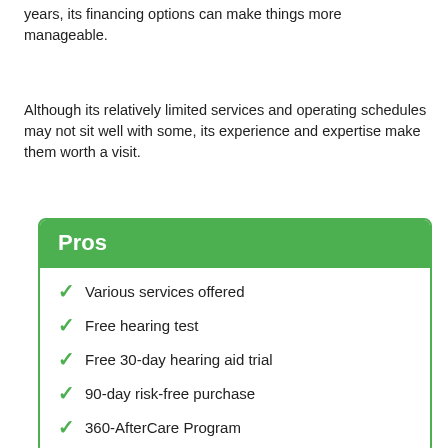years, its financing options can make things more manageable.
Although its relatively limited services and operating schedules may not sit well with some, its experience and expertise make them worth a visit.
Pros
Various services offered
Free hearing test
Free 30-day hearing aid trial
90-day risk-free purchase
360-AfterCare Program